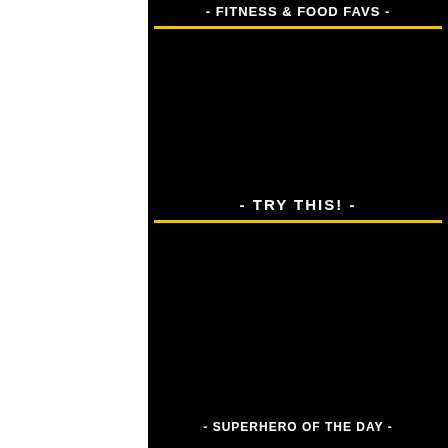- FITNESS & FOOD FAVS -
- TRY THIS! -
- SUPERHERO OF THE DAY -